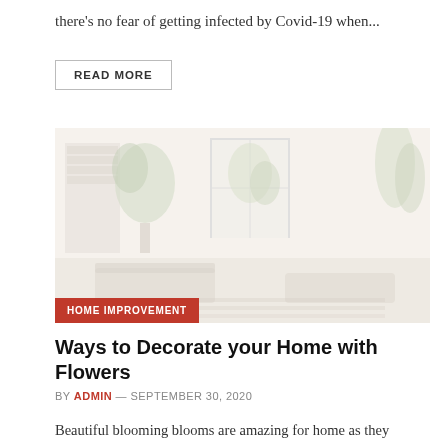there's no fear of getting infected by Covid-19 when...
READ MORE
[Figure (photo): Faded photo of a home interior room with plants and furniture]
HOME IMPROVEMENT
Ways to Decorate your Home with Flowers
BY ADMIN — SEPTEMBER 30, 2020
Beautiful blooming blooms are amazing for home as they